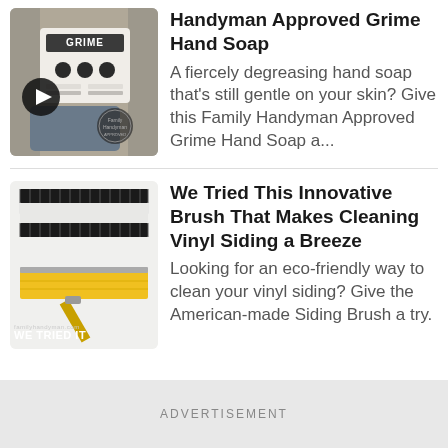[Figure (photo): Photo of Grime brand hand soap bar with video play button overlay]
Handyman Approved Grime Hand Soap
A fiercely degreasing hand soap that's still gentle on your skin?  Give this Family Handyman Approved Grime Hand Soap a...
[Figure (photo): Photo of an innovative vinyl siding cleaning brush (We Tried It badge)]
We Tried This Innovative Brush That Makes Cleaning Vinyl Siding a Breeze
Looking for an eco-friendly way to clean your vinyl siding? Give the American-made Siding Brush a try.
ADVERTISEMENT